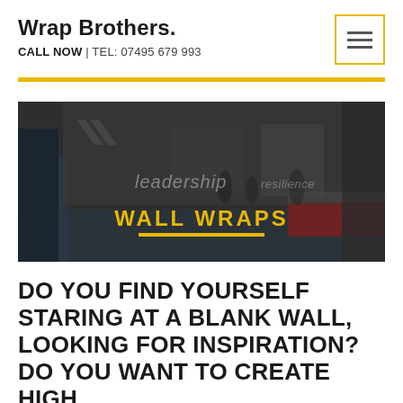Wrap Brothers.
CALL NOW | TEL: 07495 679 993
[Figure (photo): Interior of a gym or fitness facility with wall wraps showing motivational words including 'leadership' and 'resilience'. Dark overlay with yellow 'WALL WRAPS' text and yellow underline in center.]
DO YOU FIND YOURSELF STARING AT A BLANK WALL, LOOKING FOR INSPIRATION? DO YOU WANT TO CREATE HIGH